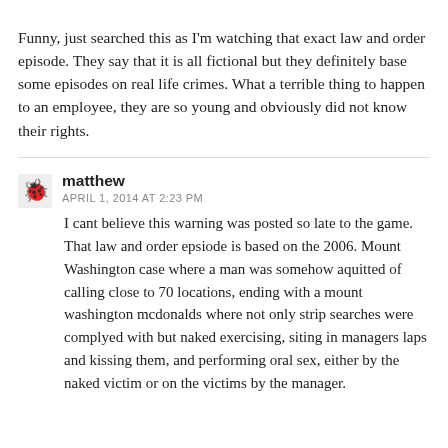Funny, just searched this as I'm watching that exact law and order episode. They say that it is all fictional but they definitely base some episodes on real life crimes. What a terrible thing to happen to an employee, they are so young and obviously did not know their rights.
matthew
APRIL 1, 2014 AT 2:23 PM
I cant believe this warning was posted so late to the game.
That law and order epsiode is based on the 2006. Mount Washington case where a man was somehow aquitted of calling close to 70 locations, ending with a mount washington mcdonalds where not only strip searches were complyed with but naked exercising, siting in managers laps and kissing them, and performing oral sex, either by the naked victim or on the victims by the manager.